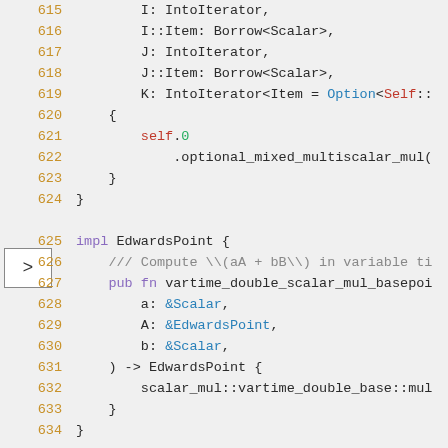[Figure (screenshot): Source code viewer showing Rust code lines 615-634, with syntax highlighting. Line numbers in orange, keywords in purple, types in blue/dark, self in red, fields in green. An arrow button marker is visible on the left side near line 620.]